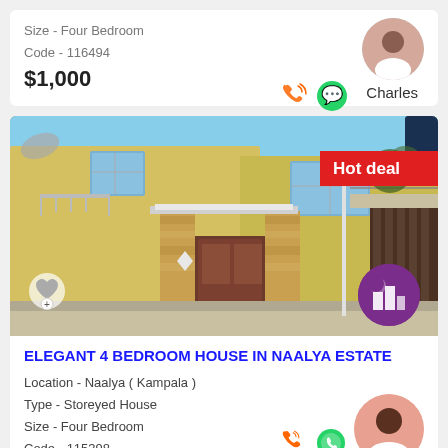Size - Four Bedroom
Code - 116494
$1,000
Charles
[Figure (photo): Two-storey house in Naalya Estate with stone-clad entrance columns and wooden doors, with a 'Hot deal' badge in the upper right corner]
ELEGANT 4 BEDROOM HOUSE IN NAALYA ESTATE
Location - Naalya ( Kampala )
Type - Storeyed House
Size - Four Bedroom
Code - 115398